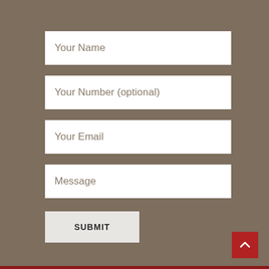Your Name
Your Number (optional)
Your Email
Message
SUBMIT
[Figure (other): Back to top button — dark red square with upward caret arrow icon in white, positioned bottom-right corner]